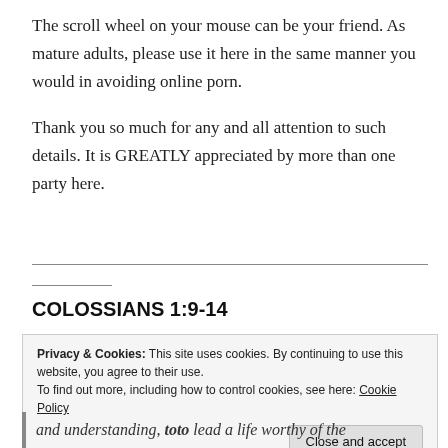The scroll wheel on your mouse can be your friend. As mature adults, please use it here in the same manner you would in avoiding online porn.
Thank you so much for any and all attention to such details. It is GREATLY appreciated by more than one party here.
COLOSSIANS 1:9-14
Privacy & Cookies: This site uses cookies. By continuing to use this website, you agree to their use.
To find out more, including how to control cookies, see here: Cookie Policy
Close and accept
and understanding, toto lead a life worthy of the